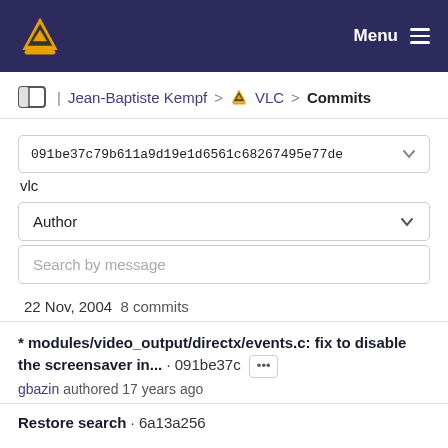VLC Menu
Jean-Baptiste Kempf > VLC > Commits
091be37c79b611a9d19e1d6561c68267495e77de
vlc
Author
Search by message
22 Nov, 2004 8 commits
* modules/video_output/directx/events.c: fix to disable the screensaver in... · 091be37c
gbazin authored 17 years ago
Restore search · 6a13a256